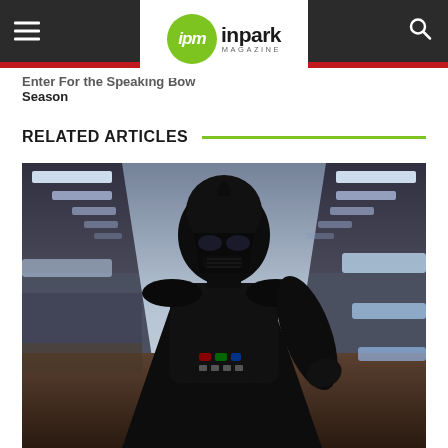ipm inpark MAGAZINE
Enter For the Speaking Bow Season
RELATED ARTICLES
[Figure (photo): Darth Vader character in full black armor and helmet standing in a futuristic corridor with bright fluorescent ceiling lights receding into the background]